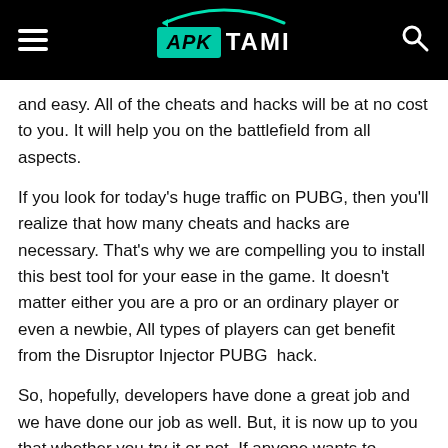APK TAMI
and easy. All of the cheats and hacks will be at no cost to you. It will help you on the battlefield from all aspects.
If you look for today's huge traffic on PUBG, then you'll realize that how many cheats and hacks are necessary. That's why we are compelling you to install this best tool for your ease in the game. It doesn't matter either you are a pro or an ordinary player or even a newbie, All types of players can get benefit from the Disruptor Injector PUBG  hack.
So, hopefully, developers have done a great job and we have done our job as well. But, it is now up to you that whether you try it or not. If anyone wants to enhance their skills according to the latest gameplay, then Disruptor Injector is the choice for those clever guys. It has all the latest features and the best thing is that all the versions are added to this amazing injector.
Features of Disruptor Injector